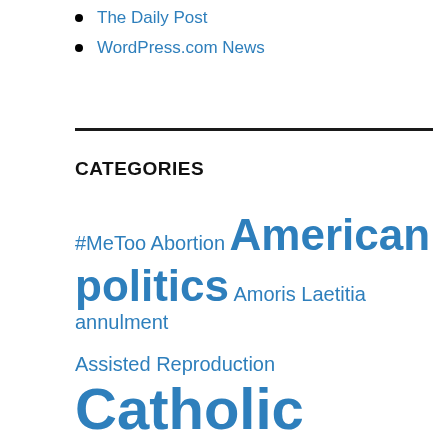The Daily Post
WordPress.com News
CATEGORIES
#MeToo Abortion American politics Amoris Laetitia annulment Assisted Reproduction Catholic Catholic Controversies Catholic